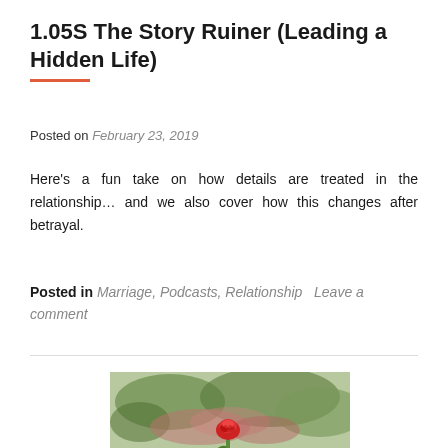1.05S The Story Ruiner (Leading a Hidden Life)
Posted on February 23, 2019
Here's a fun take on how details are treated in the relationship… and we also cover how this changes after betrayal.
Posted in Marriage, Podcasts, Relationship    Leave a comment
[Figure (photo): A hand holding a single red rose with blurred floral arrangements and greenery in the background]